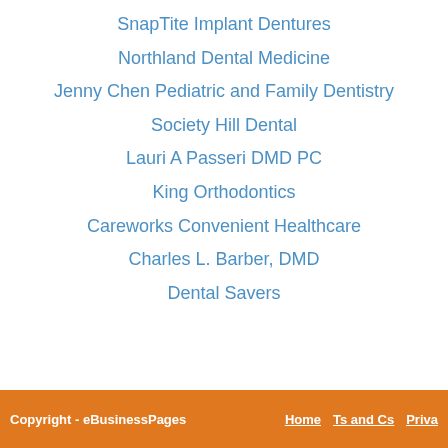SnapTite Implant Dentures
Northland Dental Medicine
Jenny Chen Pediatric and Family Dentistry
Society Hill Dental
Lauri A Passeri DMD PC
King Orthodontics
Careworks Convenient Healthcare
Charles L. Barber, DMD
Dental Savers
Copyright - eBusinessPages   Home   Ts and Cs   Priva